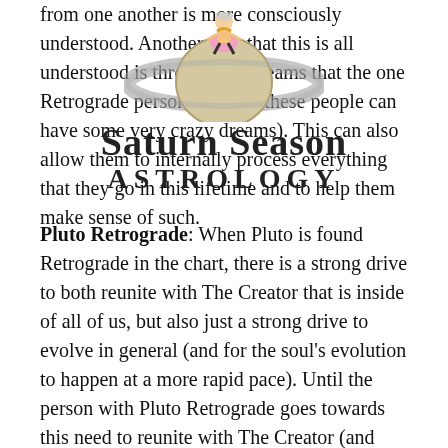from one another is more consciously understood. Another way that this is all understood is through the dreams that the one Retrograde person has (and these people can have some very crazy dreams). This can also allow them to internally process everything that they go in this lifetime and to help them make sense of such.
[Figure (illustration): Saturn Season Astrology watermark overlay with a cartoon character sitting on Saturn planet illustration]
Pluto Retrograde: When Pluto is found Retrograde in the chart, there is a strong drive to both reunite with The Creator that is inside of all of us, but also just a strong drive to evolve in general (and for the soul's evolution to happen at a more rapid pace). Until the person with Pluto Retrograde goes towards this need to reunite with The Creator (and goes more into the spiritual realms), there can be a sense of unhappiness or that they aren't doing what it is that they should be doing to make themselves feel happy and whole. Mind